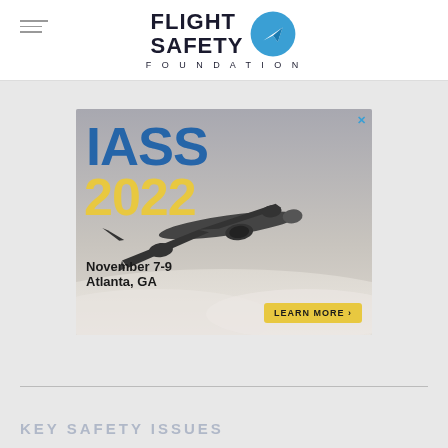[Figure (logo): Flight Safety Foundation logo with airplane icon and text FLIGHT SAFETY FOUNDATION]
[Figure (infographic): IASS 2022 advertisement banner showing airplane, event dates November 7-9, Atlanta GA, with LEARN MORE button]
KEY SAFETY ISSUES